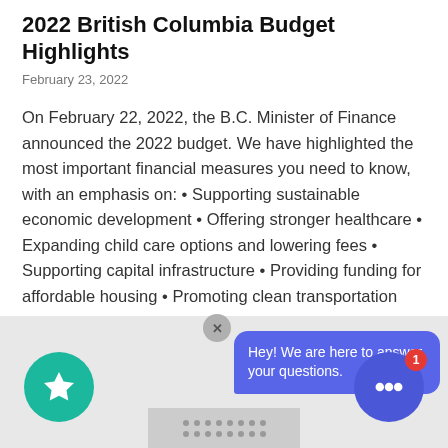2022 British Columbia Budget Highlights
February 23, 2022
On February 22, 2022, the B.C. Minister of Finance announced the 2022 budget. We have highlighted the most important financial measures you need to know, with an emphasis on: • Supporting sustainable economic development • Offering stronger healthcare • Expanding child care options and lowering fees • Supporting capital infrastructure • Providing funding for affordable housing • Promoting clean transportation Budget 2022 includes no changes to personal or corporate tax rates.
[Figure (screenshot): Chat widget overlay showing a teal star button, a blue chat bubble saying 'Hey! We are here to answer your questions.', and a blue chat icon button with a red badge showing '1'.]